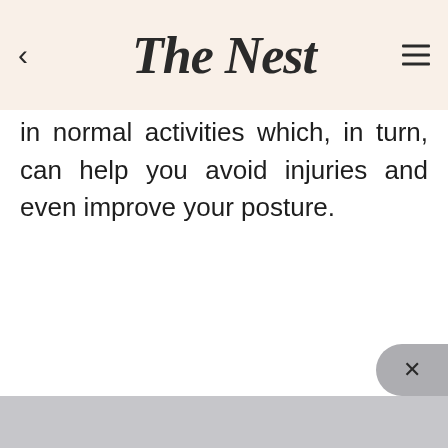The Nest
in normal activities which, in turn, can help you avoid injuries and even improve your posture.